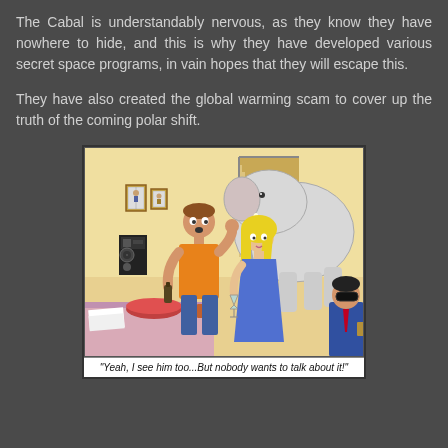The Cabal is understandably nervous, as they know they have nowhere to hide, and this is why they have developed various secret space programs, in vain hopes that they will escape this.
They have also created the global warming scam to cover up the truth of the coming polar shift.
[Figure (illustration): A cartoon showing a living room scene with two people (a man in an orange shirt and a blonde woman in a blue dress) appearing surprised, while a large elephant stands in the background that they seem to be ignoring. A third person with sunglasses sits in the corner. A bowl of food is on a table in the foreground.]
"Yeah, I see him too...But nobody wants to talk about it!"